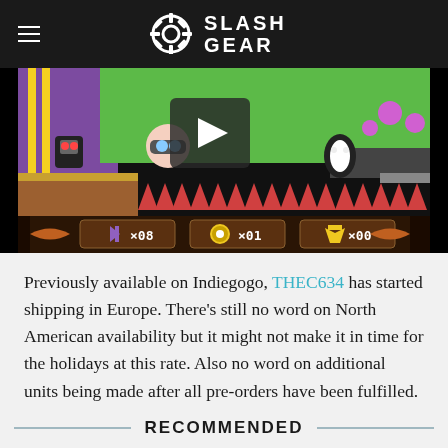SlashGear
[Figure (screenshot): Video player showing a retro-style video game screenshot with cartoon characters, colorful platform environment, and game HUD showing x08, x01, x00 scores. Play button overlay visible.]
Previously available on Indiegogo, THEC634 has started shipping in Europe. There's still no word on North American availability but it might not make it in time for the holidays at this rate. Also no word on additional units being made after all pre-orders have been fulfilled.
RECOMMENDED